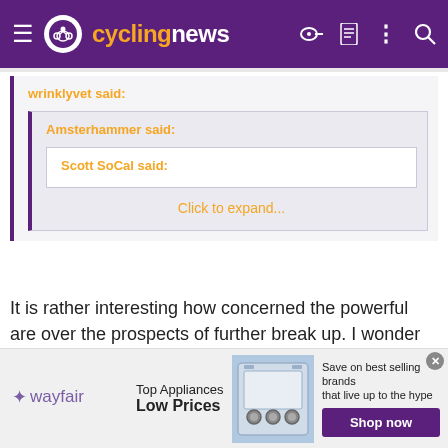cyclingnews
wrinklyvet said:
Amsterhammer said:
Scott SoCal said:
Click to expand...
It is rather interesting how concerned the powerful are over the prospects of further break up. I wonder why?
[Figure (screenshot): Wayfair advertisement banner: Top Appliances Low Prices, Save on best selling brands that live up to the hype, Shop now button]